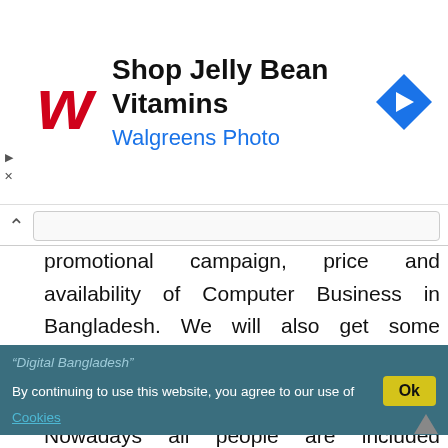[Figure (screenshot): Advertisement banner for Walgreens showing 'Shop Jelly Bean Vitamins' with Walgreens Photo subtitle, Walgreens logo, and a blue navigation arrow icon]
promotional campaign, price and availability of Computer Business in Bangladesh. We will also get some information about our retail business environment staying in all over the Bangladesh. This report will help us for the making decision, what is our future about IT sector or Government dreams “Digital Bangladesh”
By continuing to use this website, you agree to our use of Cookies
Nowadays all people are included internally or externally in Computer. Bangladesh is depended IT use for getting better life. IT business increasing day by day.